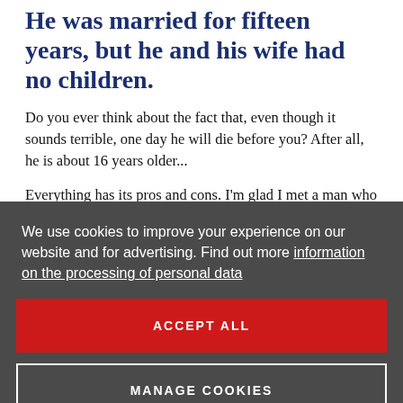He was married for fifteen years, but he and his wife had no children.
Do you ever think about the fact that, even though it sounds terrible, one day he will die before you? After all, he is about 16 years older...
Everything has its pros and cons. I'm glad I met a man who had no children and had them with me for the first time and at an older age. He enjoys and values them more. That's the "pro".
We use cookies to improve your experience on our website and for advertising. Find out more information on the processing of personal data
ACCEPT ALL
MANAGE COOKIES